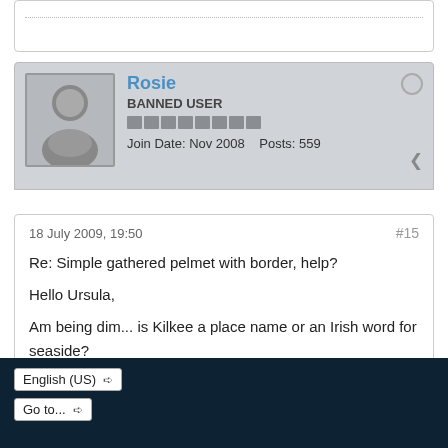[Figure (screenshot): Top portion of a previous forum post card, showing dotted divider line]
[Figure (screenshot): Forum user card for Rosie, BANNED USER, with avatar, join date Nov 2008, Posts 559]
18 July 2009, 19:50
#15

Re: Simple gathered pelmet with border, help?

Hello Ursula,

Am being dim... is Kilkee a place name or an Irish word for seaside?
1  2  Next
English (US)
Go to...